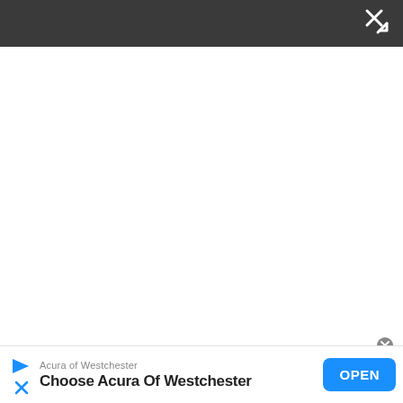[Figure (screenshot): Dark gray top toolbar with a white X/expand icon in the top-right corner]
[Figure (screenshot): Large white blank content area below the toolbar]
[Figure (screenshot): Small circular close button (gray) near bottom right of white area]
Acura of Westchester
Choose Acura Of Westchester
OPEN